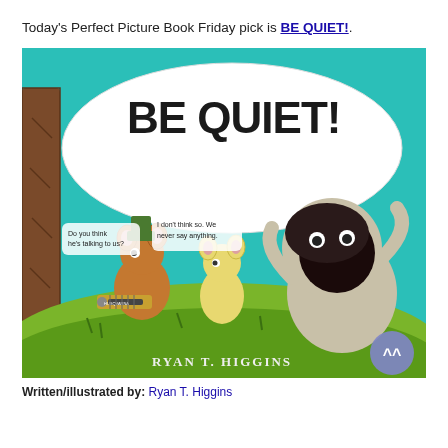Today's Perfect Picture Book Friday pick is BE QUIET!.
[Figure (illustration): Book cover of 'Be Quiet!' by Ryan T. Higgins. Teal background with large speech bubble containing 'BE QUIET!' in bold brush lettering. Two cartoon mice characters on a green hill — one brown mouse holding a chainsaw with speech bubble 'Do you think he's talking to us?', one yellow mouse with speech bubble 'I don't think so. We never say anything.' A large mole or creature with wide open mouth appears on the right. Author name 'Ryan T. Higgins' at the bottom. A tree trunk on the left edge.]
Written/Illustrated by: Ryan T. Higgins